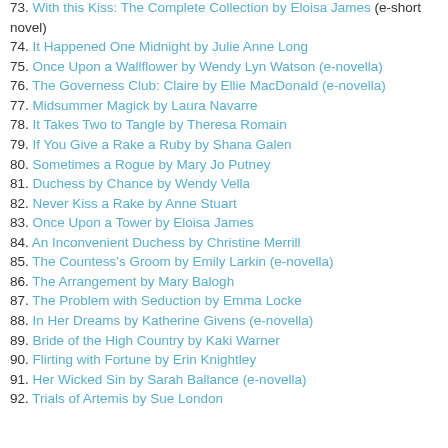73. With this Kiss: The Complete Collection by Eloisa James (e-short novel)
74. It Happened One Midnight by Julie Anne Long
75. Once Upon a Wallflower by Wendy Lyn Watson (e-novella)
76. The Governess Club: Claire by Ellie MacDonald (e-novella)
77. Midsummer Magick by Laura Navarre
78. It Takes Two to Tangle by Theresa Romain
79. If You Give a Rake a Ruby by Shana Galen
80. Sometimes a Rogue by Mary Jo Putney
81. Duchess by Chance by Wendy Vella
82. Never Kiss a Rake by Anne Stuart
83. Once Upon a Tower by Eloisa James
84. An Inconvenient Duchess by Christine Merrill
85. The Countess's Groom by Emily Larkin (e-novella)
86. The Arrangement by Mary Balogh
87. The Problem with Seduction by Emma Locke
88. In Her Dreams by Katherine Givens (e-novella)
89. Bride of the High Country by Kaki Warner
90. Flirting with Fortune by Erin Knightley
91. Her Wicked Sin by Sarah Ballance (e-novella)
92. Trials of Artemis by Sue London